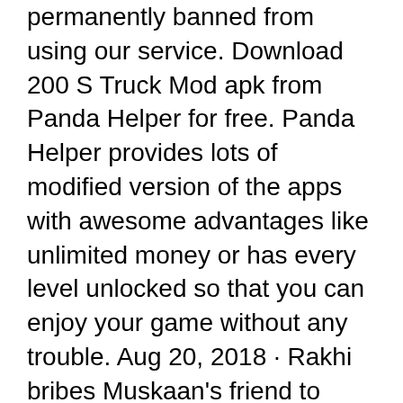permanently banned from using our service. Download 200 S Truck Mod apk from Panda Helper for free. Panda Helper provides lots of modified version of the apps with awesome advantages like unlimited money or has every level unlocked so that you can enjoy your game without any trouble. Aug 20, 2018 · Rakhi bribes Muskaan's friend to steal the scrap items that Muskaan has gathered, to ensure that she starves. Muskaan goes to pick rags. Sujoy tries to help Muskaan. V.I.P visits Tabassum and insists on meeting Muskaan. Watch Musakaan - Hindi Drama TV Serial on Disney+ Hotstar now. What is vip72socks.exe ? vip72socks.exe doesn't have a product name yet and it is developed by unknown.We have seen about 71 different instances of vip72socks.exe in different location. Looking for tickets for 'Pepsi Center'? Search at Ticketmaster.com, the number one source for concerts, sports, arts, theater, theatre, broadway shows, family event tickets on online. RevealMe.VIP brings VIPs and Revealers closer together. The #1 social platform of 2020 allows VIPs to upload exclusive content and be engaged by the Revealers.